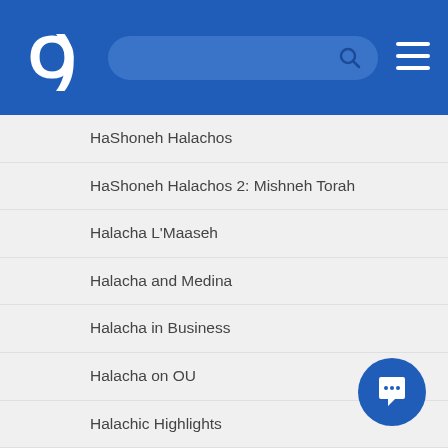OU Torah — Navigation header with logo, search bar, and menu
HaShoneh Halachos
HaShoneh Halachos 2: Mishneh Torah
Halacha L'Maaseh
Halacha and Medina
Halacha in Business
Halacha on OU
Halachic Highlights
Halachic and Hashkafic Issues in Contemporary Society
Headlines
Hilchos Lashon Hara
Hilchot Bein Adam l'Chaveiro
Hilchot Brachot
Hilchot Kibud Av v'Eim
Mishna Berura Daf Hashavua
Mishnah Brurah Iyun Chaburah